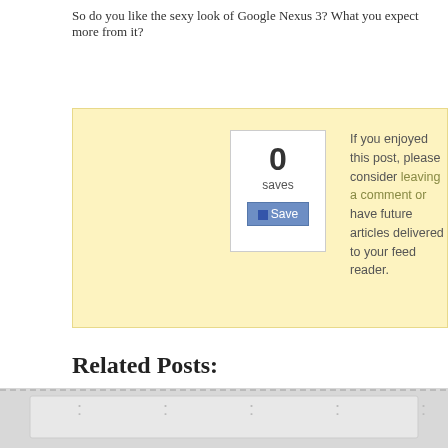So do you like the sexy look of Google Nexus 3? What you expect more from it?
If you enjoyed this post, please consider leaving a comment or have future articles delivered to your feed reader.
Related Posts:
[Figure (screenshot): Five related post thumbnails: Buying a Smartphone, Buying a Smartphone, Optimize Your..., Maintenance Tips, Protect Your Phone]
[Figure (screenshot): Bottom gray section with dashed border and light gray inner area]